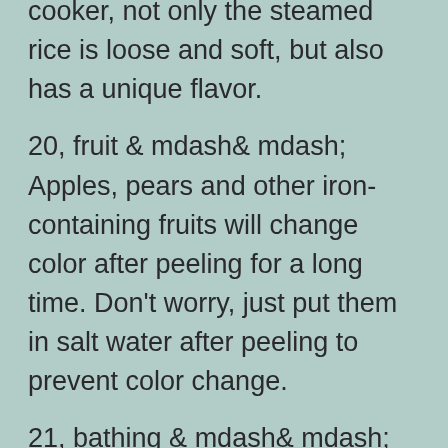cooker, not only the steamed rice is loose and soft, but also has a unique flavor.
20, fruit & mdash& mdash; Apples, pears and other iron-containing fruits will change color after peeling for a long time. Don't worry, just put them in salt water after peeling to prevent color change.
21, bathing & mdash& mdash; Add some bath salt or table salt when you take a bath in the bathtub, which can not only kill bacteria, but also refresh yourself.
22, vinegar & mdash& mdash; Add some salt